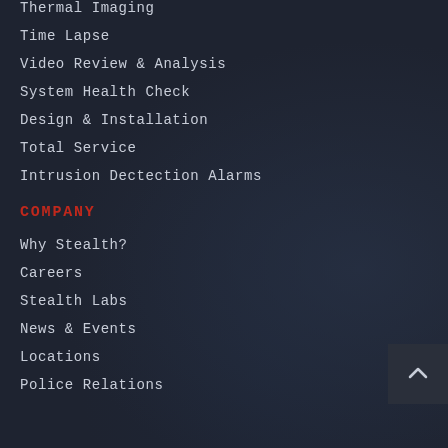Thermal Imaging
Time Lapse
Video Review & Analysis
System Health Check
Design & Installation
Total Service
Intrusion Dectection Alarms
COMPANY
Why Stealth?
Careers
Stealth Labs
News & Events
Locations
Police Relations